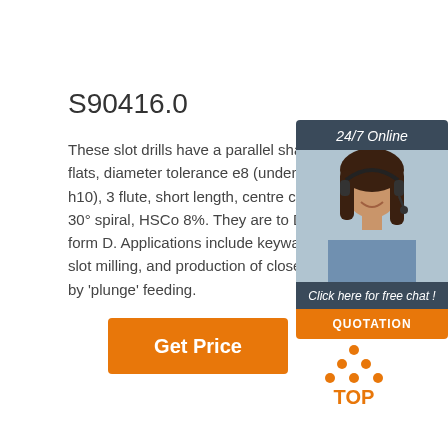S90416.0
These slot drills have a parallel shank with flats, diameter tolerance e8 (undersize on h10), 3 flute, short length, centre cutting, 30° spiral, HSCo 8%. They are to DIN form D. Applications include keyway slot milling, and production of closed slots by 'plunge' feeding.
[Figure (photo): Customer support representative with headset, chat widget with '24/7 Online' header, 'Click here for free chat!' text, and orange QUOTATION button]
Get Price
[Figure (logo): TOP logo with orange dots arranged in triangle pattern above the word TOP in orange]